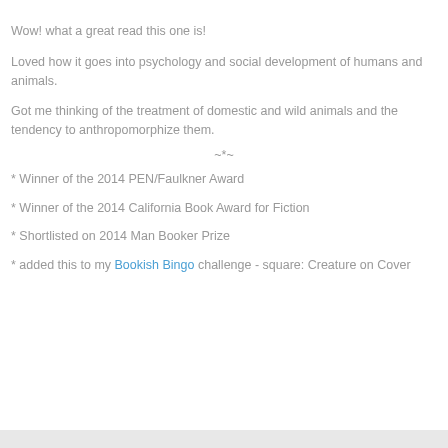Wow! what a great read this one is!
Loved how it goes into psychology and social development of humans and animals.
Got me thinking of the treatment of domestic and wild animals and the tendency to anthropomorphize them.
~*~
* Winner of the 2014 PEN/Faulkner Award
* Winner of the 2014 California Book Award for Fiction
* Shortlisted on 2014 Man Booker Prize
* added this to my Bookish Bingo challenge - square: Creature on Cover